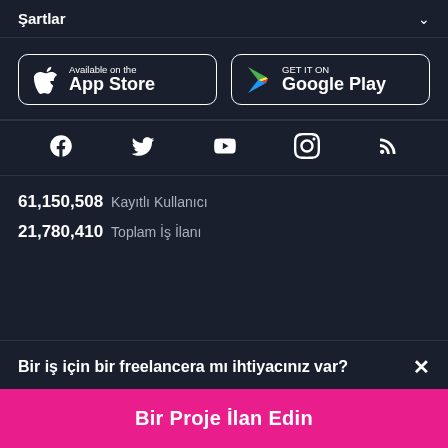Şartlar
[Figure (logo): App Store and Google Play download buttons]
[Figure (infographic): Social media icons: Facebook, Twitter, YouTube, Instagram, RSS]
61,150,508 Kayıtlı Kullanıcı
21,780,410 Toplam İş İlanı
Bir iş için bir freelancera mı ihtiyacınız var?
Bir Proje İlan Edin